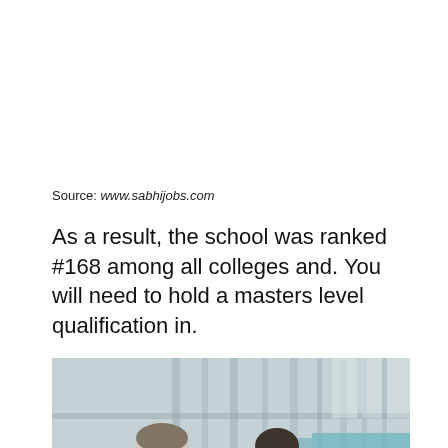Source: www.sabhijobs.com
As a result, the school was ranked #168 among all colleges and. You will need to hold a masters level qualification in.
[Figure (photo): Two professionals, a man in a light grey suit with glasses and a woman in a dark blazer, looking down together, likely reviewing documents, in an industrial or warehouse-style building with structural beams and blue seating visible in the background.]